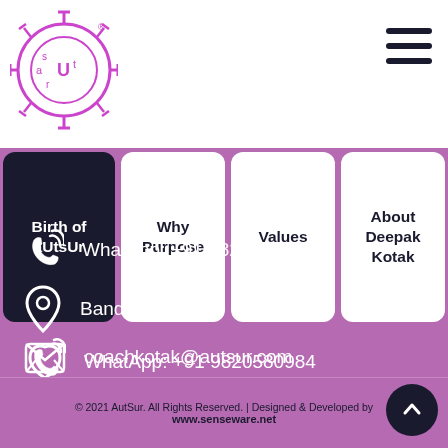[Figure (logo): aUtSUr company logo — circular gear/sun shape with purple lines, letters a,U,t,s,r inside circle]
Birth of aUtsUr
Why Purpose
Values
About Deepak Kotak
WhatApp: +91 9820580984
coachkotak@autsur.com
Bandra, Mumbai.
© 2021 AutSur. All Rights Reserved. | Designed & Developed by www.senseware.net